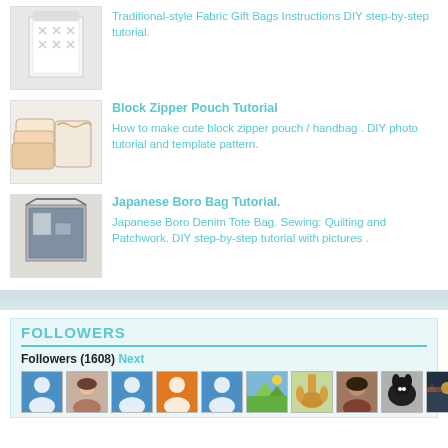Traditional-style Fabric Gift Bags Instructions DIY step-by-step tutorial.
Block Zipper Pouch Tutorial
How to make cute block zipper pouch / handbag . DIY photo tutorial and template pattern.
Japanese Boro Bag Tutorial.
Japanese Boro Denim Tote Bag. Sewing: Quilting and Patchwork. DIY step-by-step tutorial with pictures .
FOLLOWERS
Followers (1608) Next
[Figure (photo): Row of follower avatar thumbnails including profile icons and photos]